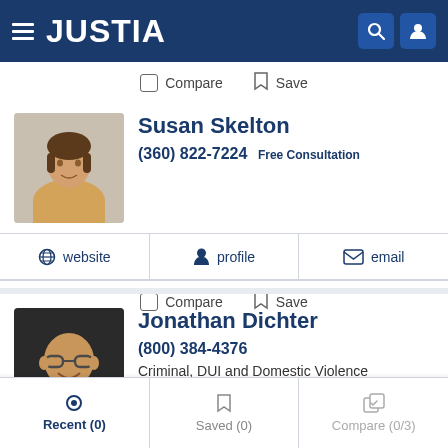JUSTIA
Compare  Save
Susan Skelton
(360) 822-7224  Free Consultation
website  profile  email
Compare  Save
Jonathan Dichter
(800) 384-4376
Criminal, DUI and Domestic Violence
website  profile  email
Recent (0)  Saved (0)  Compare (0/3)